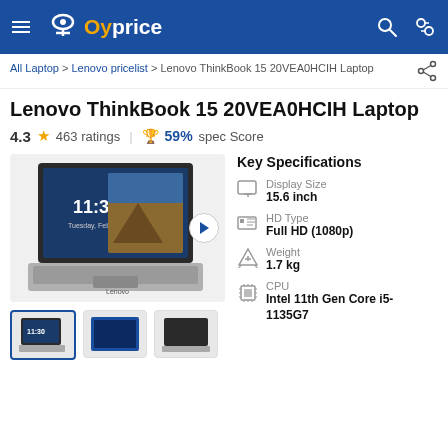Oyprice
All Laptop > Lenovo pricelist > Lenovo ThinkBook 15 20VEA0HCIH Laptop
Lenovo ThinkBook 15 20VEA0HCIH Laptop
4.3 ★ 463 ratings | 🏆 59% spec Score
[Figure (photo): Lenovo ThinkBook 15 20VEA0HCIH Laptop product image showing open laptop from front-left angle]
Key Specifications
Display Size: 15.6 inch
HD Type: Full HD (1080p)
Weight: 1.7 kg
CPU: Intel 11th Gen Core i5-1135G7